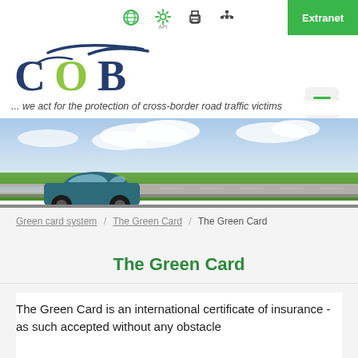[Figure (screenshot): Website top navigation bar with globe icon, gear/API icon, printer icon, sitemap icon, and green Extranet button]
[Figure (logo): COB logo - stylized letters C O B with a swoosh, in dark blue and yellow-green]
... we act for the protection of cross-border road traffic victims
[Figure (photo): Hero banner image of a blue car driving on a road with green fields and cloudy sky, motion blur effect]
Green card system / The Green Card / The Green Card
The Green Card
The Green Card is an international certificate of insurance - as such accepted without any obstacle